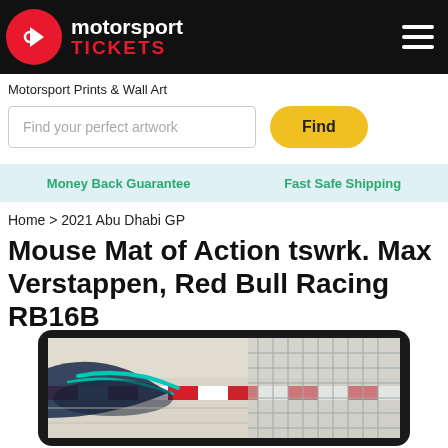motorsport TICKETS
Motorsport Prints & Wall Art
Find your perfect artwork
Find
Money Back Guarantee    Fast Safe Shipping
Home > 2021 Abu Dhabi GP
Mouse Mat of Action tswrk. Max Verstappen, Red Bull Racing RB16B
[Figure (photo): Close-up photo of Max Verstappen's Red Bull Racing RB16B Formula 1 car at the 2021 Abu Dhabi GP, showing the car bodywork with teal/blue accents, red-and-white kerbing in the background, and lattice/honeycomb structure detail on the right side.]